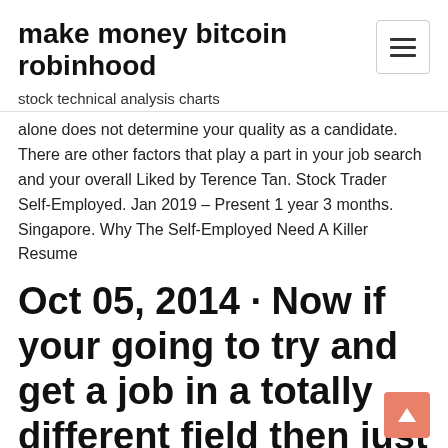make money bitcoin robinhood
stock technical analysis charts
alone does not determine your quality as a candidate. There are other factors that play a part in your job search and your overall Liked by Terence Tan. Stock Trader Self-Employed. Jan 2019 – Present 1 year 3 months. Singapore. Why The Self-Employed Need A Killer Resume
Oct 05, 2014 · Now if your going to try and get a job in a totally different field then just putting that you were a self-employed day trader might not even get your resume past the trash